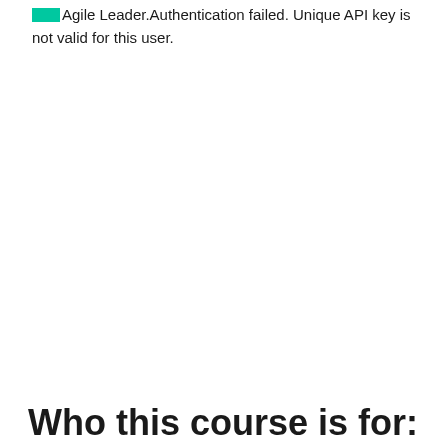Agile Leader.Authentication failed. Unique API key is not valid for this user.
Who this course is for: